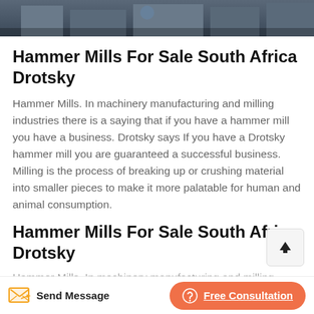[Figure (photo): Hero image showing an industrial building or facility exterior, dark blue-grey tones]
Hammer Mills For Sale South Africa Drotsky
Hammer Mills. In machinery manufacturing and milling industries there is a saying that if you have a hammer mill you have a business. Drotsky says If you have a Drotsky hammer mill you are guaranteed a successful business. Milling is the process of breaking up or crushing material into smaller pieces to make it more palatable for human and animal consumption.
Hammer Mills For Sale South Africa Drotsky
Hammer Mills. In machinery manufacturing and milling
Send Message | Free Consultation